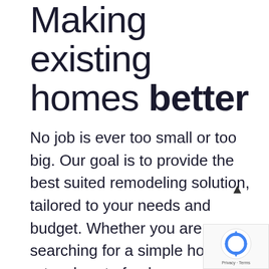Making existing homes better
No job is ever too small or too big. Our goal is to provide the best suited remodeling solution, tailored to your needs and budget. Whether you are searching for a simple home retouch or to freshen up your business, you can rely on our knowledge and creativity to transform your space. We handle every aspect of your project, fr• design and planning to construction.
[Figure (logo): reCAPTCHA badge with rotating arrows logo and Privacy - Terms text]